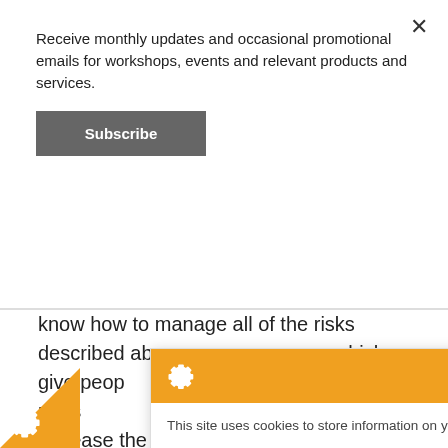Receive monthly updates and occasional promotional emails for workshops, events and relevant products and services.
Subscribe
know how to manage all of the risks described above year, which give people ey like with a pension ly serve to increase the p nistake.

Building an income from it requires nation of risks, and demands he past, individuals retiring or annuity have generally only needed financial advice at the point of retirement. Going forward, those retiring with a DC
This site uses cookies to store information on your computer.

Some of these cookies are essential to make our site work and others help us to improve by giving us some insight into how the site is being used.
I'm fine with this